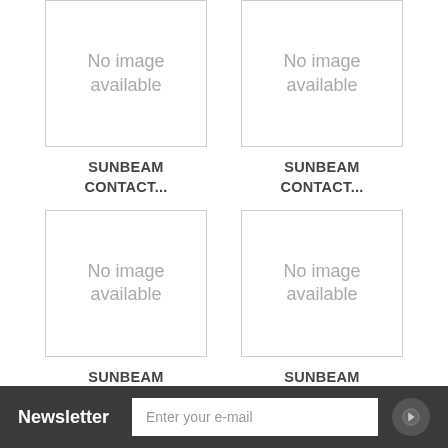[Figure (other): No image available placeholder box (top-left)]
SUNBEAM CONTACT...
[Figure (other): No image available placeholder box (top-right)]
SUNBEAM CONTACT...
[Figure (other): No image available placeholder box (bottom-left)]
SUNBEAM CONTACT...
[Figure (other): No image available placeholder box (bottom-right)]
SUNBEAM CONTACT...
Newsletter  Enter your e-mail